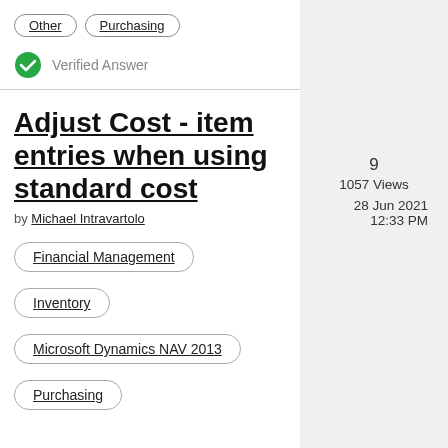Other
Purchasing
Verified Answer
Adjust Cost - item entries when using standard cost
by Michael Intravartolo
Financial Management
Inventory
Microsoft Dynamics NAV 2013
Purchasing
9
1057 Views
28 Jun 2021
12:33 PM